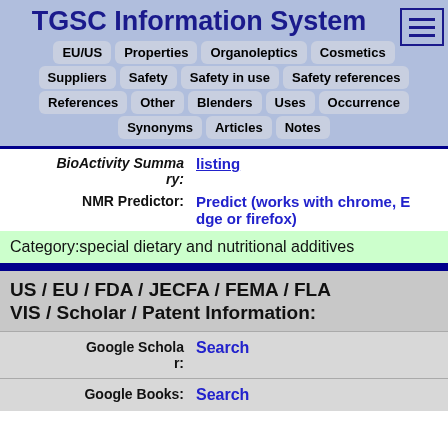TGSC Information System
EU/US | Properties | Organoleptics | Cosmetics | Suppliers | Safety | Safety in use | Safety references | References | Other | Blenders | Uses | Occurrence | Synonyms | Articles | Notes
BioActivity Summary: listing
NMR Predictor: Predict (works with chrome, Edge or firefox)
Category:special dietary and nutritional additives
US / EU / FDA / JECFA / FEMA / FLAVIS / Scholar / Patent Information:
Google Scholar: Search
Google Books: Search